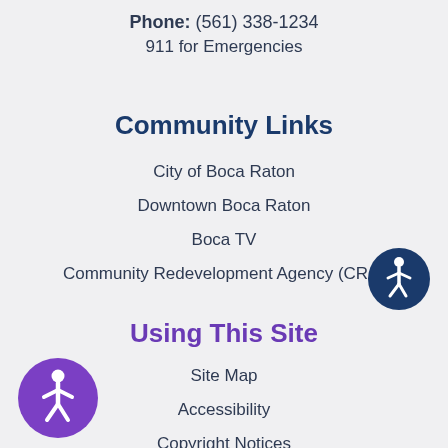Phone: (561) 338-1234
911 for Emergencies
Community Links
City of Boca Raton
Downtown Boca Raton
Boca TV
Community Redevelopment Agency (CRA)
[Figure (illustration): Accessibility icon badge - dark blue circle with white wheelchair accessible person symbol]
Using This Site
Site Map
Accessibility
Copyright Notices
Personal Email Disclaimer
[Figure (illustration): Accessibility icon badge - purple circle with white wheelchair accessible person symbol]